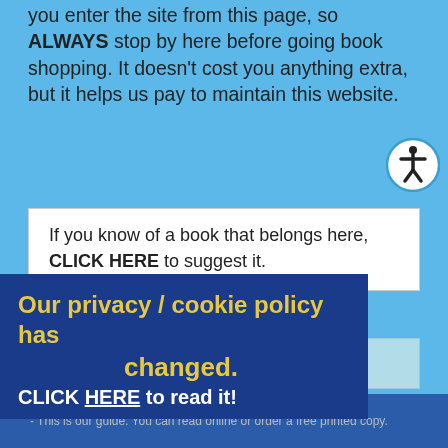you enter the site from this page, so ALWAYS stop by here before going book shopping. It doesn't cost you anything extra, but it helps us pay to maintain this website.
If you know of a book that belongs here, CLICK HERE to suggest it.
📖 FREE BOOKS
Our privacy / cookie policy has changed.
CLICK HERE to read it!
Brain Tumor Guide For The Newly Diagnosed
- This is our guide. You can read online or order a free printed copy.
Frankly Speaking About Brain Tumors
An excellent brain tumor guide from the National